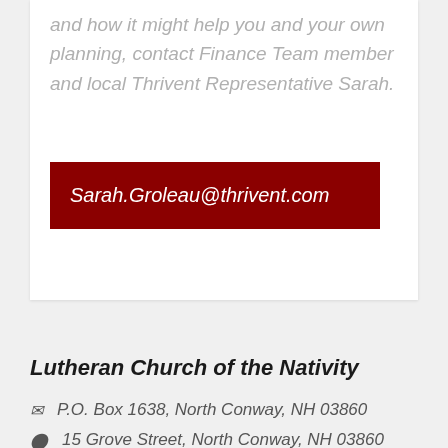and how it might help you and your own planning, contact Finance Team member and local Thrivent Representative Sarah.
Sarah.Groleau@thrivent.com
Lutheran Church of the Nativity
P.O. Box 1638, North Conway, NH 03860
15 Grove Street, North Conway, NH 03860